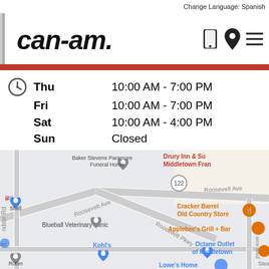Change Language: Spanish
[Figure (logo): can-am logo with phone, location pin, and hamburger menu icons]
| Day | Hours |
| --- | --- |
| Thu | 10:00 AM - 7:00 PM |
| Fri | 10:00 AM - 7:00 PM |
| Sat | 10:00 AM - 4:00 PM |
| Sun | Closed |
[Figure (map): Google Maps screenshot showing area near Middletown with landmarks including Baker Stevens Paramore Funeral Home, Shell, Blueball Veterinary Clinic, Kohl's, Octane Outlet of Middletown, Lowe's Home, Cracker Barrel Old Country Store, Applebee's Grill + Bar, Drury Inn & Suites Middletown Franklin, along roads including Roosevelt Ave, Roosevelt Pkwy, Windsor Rd, and route 122.]